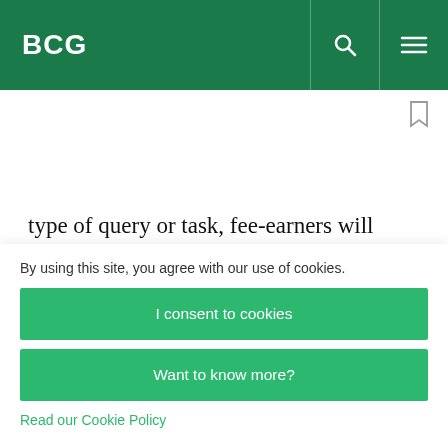BCG
type of query or task, fee-earners will know exactly where to go and whom to contact to get what they need.
To fully realize the benefits of an operating model, the organization must fully commit to assigning
By using this site, you agree with our use of cookies.
I consent to cookies
Want to know more?
Read our Cookie Policy